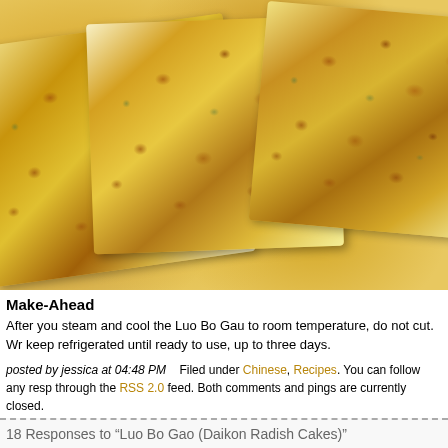[Figure (photo): Close-up photo of golden-brown pan-fried Luo Bo Gao (Daikon Radish Cakes) slices with visible browned spots and green onion pieces]
Make-Ahead
After you steam and cool the Luo Bo Gau to room temperature, do not cut. Wr keep refrigerated until ready to use, up to three days.
posted by jessica at 04:48 PM    Filed under Chinese, Recipes. You can follow any resp through the RSS 2.0 feed. Both comments and pings are currently closed.
18 Responses to “Luo Bo Gao (Daikon Radish Cakes)”